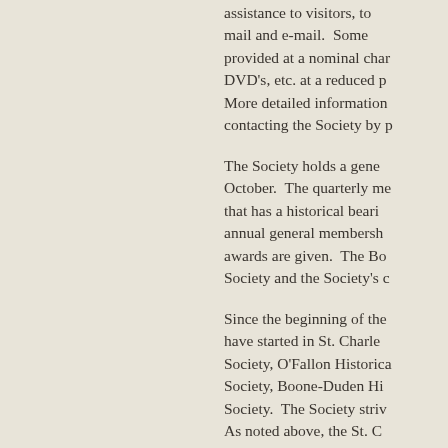assistance to visitors, to mail and e-mail. Some provided at a nominal char DVD's, etc. at a reduced p More detailed information contacting the Society by p
The Society holds a gene October. The quarterly me that has a historical beari annual general membersh awards are given. The Bo Society and the Society's c
Since the beginning of the have started in St. Charle Society, O'Fallon Historica Society, Boone-Duden Hi Society. The Society striv As noted above, the St. C Charles County Historical S
In October 2010 St. Charl